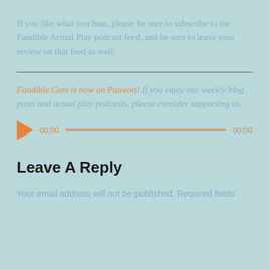If you like what you hear, please be sure to subscribe to the Fandible Actual Play podcast feed, and be sure to leave your review on that feed as well.
[Figure (other): Horizontal divider line]
Fandible.Com is now on Patreon! If you enjoy our weekly blog posts and actual play podcasts, please consider supporting us.
[Figure (other): Audio player with play button, time display 00:00, progress bar, and end time 00:00]
Leave A Reply
Your email address will not be published. Required fields